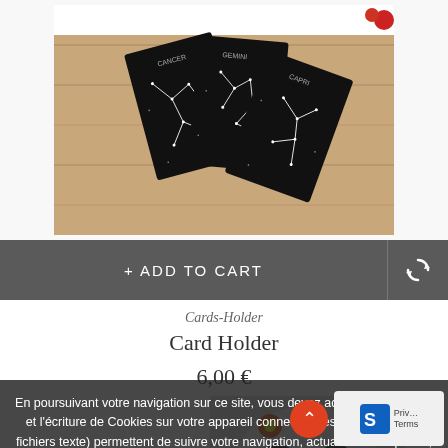[Figure (photo): Product photo: black constellation card holders with white star patterns on a wooden surface]
+ ADD TO CART
Cards-Holder
Card Holder
6,00 €
En poursuivant votre navigation sur ce site, vous devez accepter l'utilisation et l'écriture de Cookies sur votre appareil connecté. Ces Cookies (petits fichiers texte) permettent de suivre votre navigation, actualiser votre panier, vous reconnaître lors de votre prochaine visite et sécuriser votre connexion. Pour en savoir plus et paramétrer les traceurs: http://www.cnil.fr/vos-obligations/sites-web-cookies-et-autres-traceurs/que-dit-la-loi/
[Figure (photo): Colorful decorative skull product photo]